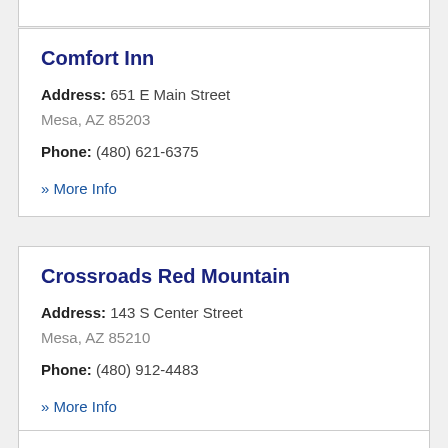Comfort Inn
Address: 651 E Main Street
Mesa, AZ 85203
Phone: (480) 621-6375
» More Info
Crossroads Red Mountain
Address: 143 S Center Street
Mesa, AZ 85210
Phone: (480) 912-4483
» More Info